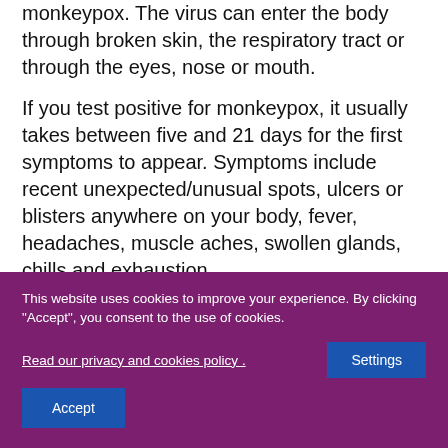monkeypox. The virus can enter the body through broken skin, the respiratory tract or through the eyes, nose or mouth.
If you test positive for monkeypox, it usually takes between five and 21 days for the first symptoms to appear. Symptoms include recent unexpected/unusual spots, ulcers or blisters anywhere on your body, fever, headaches, muscle aches, swollen glands, chills and exhaustion.
As the image shows, the last part of the first...
This website uses cookies to improve your experience. By clicking "Accept", you consent to the use of cookies.
Read our privacy and cookies policy . Settings
Accept